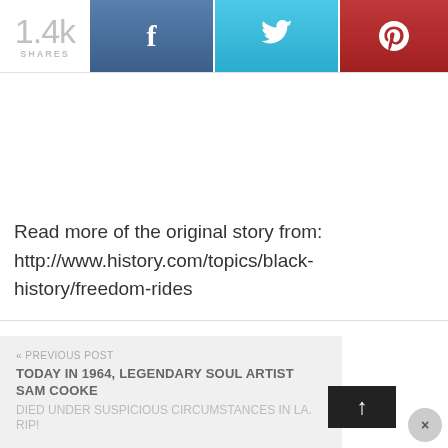[Figure (infographic): Social share bar with 1.4k shares count, Facebook button (blue), Twitter button (cyan), Pinterest button (red)]
Read more of the original story from:
http://www.history.com/topics/black-history/freedom-rides
« PREVIOUS POST
TODAY IN 1964, LEGENDARY SOUL ARTIST SAM COOKE
DIED UNDER SUSPICIOUS CIRCUMSTANCES IN LA. RIP!